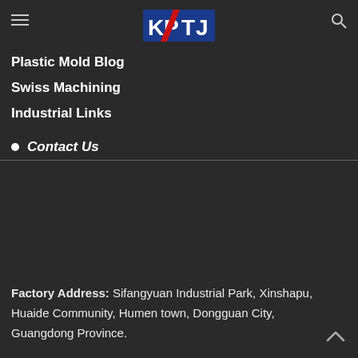KPTJ logo with hamburger menu and search icon
Plastic Mold Blog
Swiss Machining
Industrial Links
Contact Us
Factory Address: Sifangyuan Industrial Park, Xinshapu, Huaide Community, Humen town, Dongguan City, Guangdong Province.